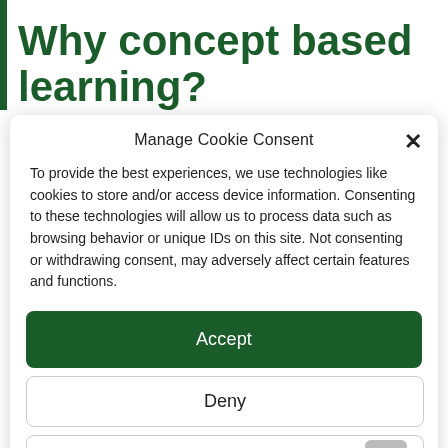Why concept based learning?
Manage Cookie Consent
To provide the best experiences, we use technologies like cookies to store and/or access device information. Consenting to these technologies will allow us to process data such as browsing behavior or unique IDs on this site. Not consenting or withdrawing consent, may adversely affect certain features and functions.
Accept
Deny
View preferences
Cookie policy ita